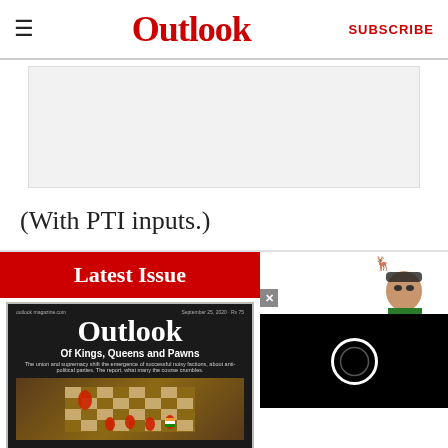Outlook
[Figure (other): Advertisement placeholder box with light gray background]
(With PTI inputs.)
Latest Issue
[Figure (photo): Outlook magazine cover: 'Of Kings, Queens and Pawns' with chess pieces on a board]
[Figure (illustration): Cartoon illustration of a person with antlers and a video player with ring/loading icon on black background]